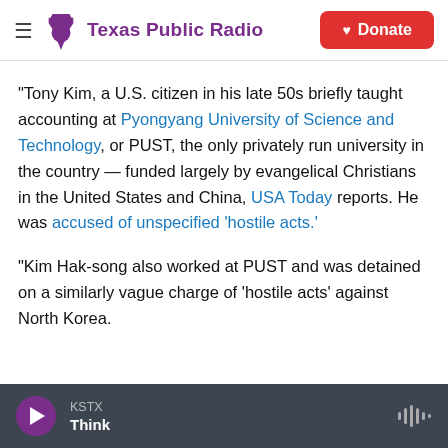Texas Public Radio
"Tony Kim, a U.S. citizen in his late 50s briefly taught accounting at Pyongyang University of Science and Technology, or PUST, the only privately run university in the country — funded largely by evangelical Christians in the United States and China, USA Today reports. He was accused of unspecified 'hostile acts.'
"Kim Hak-song also worked at PUST and was detained on a similarly vague charge of 'hostile acts' against North Korea.
KSTX Think